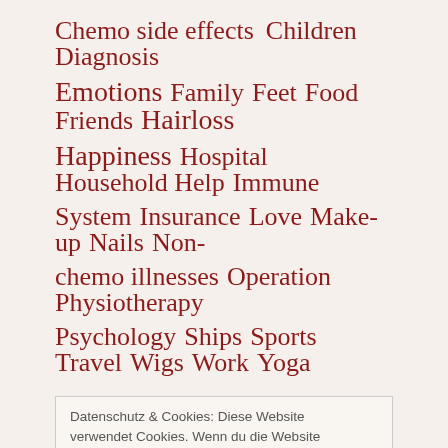Chemo side effects  Children  Diagnosis  Emotions  Family  Feet  Food  Friends  Hairloss  Happiness  Hospital  Household Help  Immune System  Insurance  Love  Make-up  Nails  Non-chemo illnesses  Operation  Physiotherapy  Psychology  Ships  Sports  Travel  Wigs  Work  Yoga
Datenschutz & Cookies: Diese Website verwendet Cookies. Wenn du die Website weiterhin nutzt, stimmst du der Verwendung von Cookies zu.
Weitere Informationen, beispielsweise zur Kontrolle von Cookies, findest du hier: Cookie-Richtlinie
Juni 2022